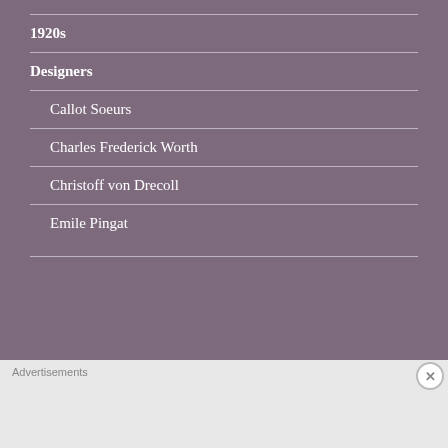1920s
Designers
Callot Soeurs
Charles Frederick Worth
Christoff von Drecoll
Emile Pingat
Advertisements
[Figure (screenshot): Day One journaling app advertisement banner with blue background, app icons, and tagline 'The only journaling app you'll ever need.']